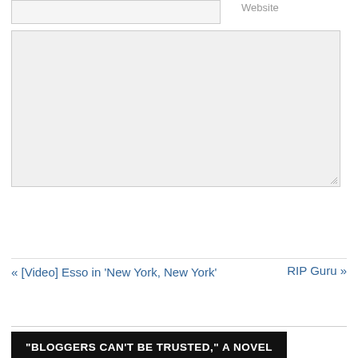Website
[Figure (other): Comment text area input box (large gray textarea with resize handle)]
[Figure (other): Submit Comment button (blue button)]
« [Video] Esso in 'New York, New York'
RIP Guru »
[Figure (other): Black banner with text: "BLOGGERS CAN'T BE TRUSTED," A NOVEL]